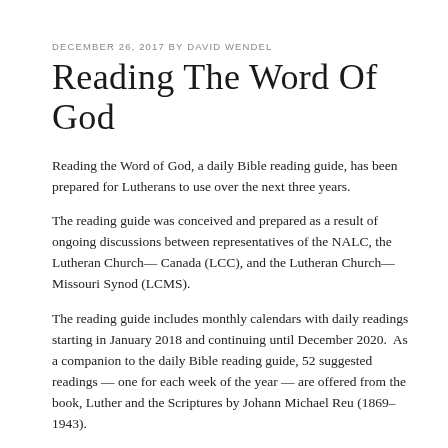DECEMBER 26, 2017 BY DAVID WENDEL
Reading The Word Of God
Reading the Word of God, a daily Bible reading guide, has been prepared for Lutherans to use over the next three years.
The reading guide was conceived and prepared as a result of ongoing discussions between representatives of the NALC, the Lutheran Church— Canada (LCC), and the Lutheran Church—Missouri Synod (LCMS).
The reading guide includes monthly calendars with daily readings starting in January 2018 and continuing until December 2020.  As a companion to the daily Bible reading guide, 52 suggested readings — one for each week of the year — are offered from the book, Luther and the Scriptures by Johann Michael Reu (1869–1943).